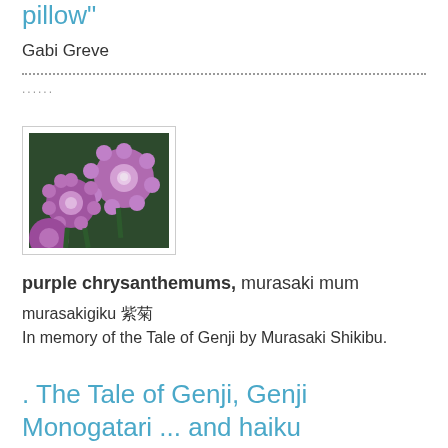pillow"
Gabi Greve
.......................................................................................
.......................................................................................
....
[Figure (photo): Photograph of purple chrysanthemum flowers (murasaki mum), shown in a bordered box]
purple chrysanthemums, murasaki mum
murasakigiku 紫菊
In memory of the Tale of Genji by Murasaki Shikibu.
. The Tale of Genji, Genji Monogatari ... and haiku